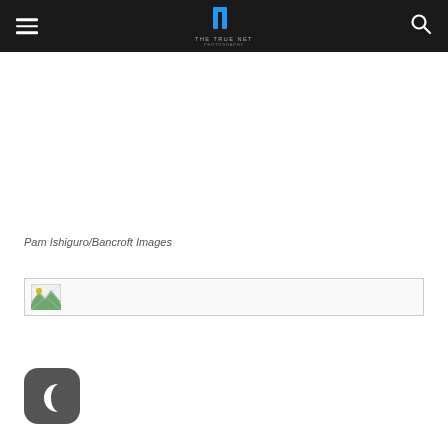THE TRUE NET — navigation bar with hamburger menu and search icon
Pam Ishiguro/Bancroft Images
[Figure (photo): Broken/missing image placeholder with small landscape thumbnail icon]
[Figure (illustration): Dark gray rounded square icon with a white crescent moon symbol (night mode / Crescent app icon)]